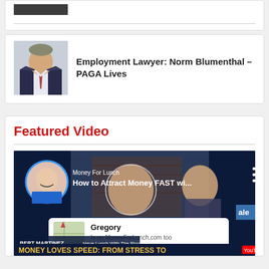[Figure (photo): Top partial card with a dark photo thumbnail visible at top]
Employment Lawyer: Norm Blumenthal – PAGA Lives
Featured Video
[Figure (screenshot): YouTube video thumbnail showing 'How to Attract Money FAST wi...' from Money For Lunch channel with Bert Martinez, with a Provely popup showing 'Gregory Is on MoneyForLunch.com too - Verified by Provely' and text 'MONEY LOVES SPEED: FROM STRESS TO...']